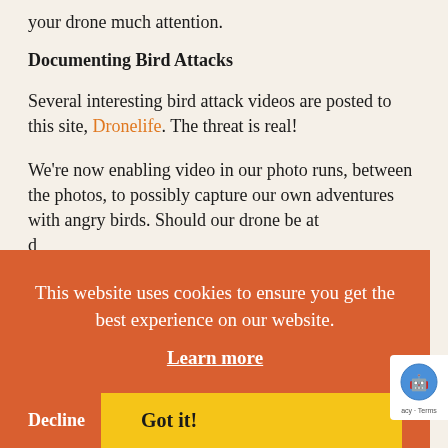your drone much attention.
Documenting Bird Attacks
Several interesting bird attack videos are posted to this site, Dronelife. The threat is real!
We're now enabling video in our photo runs, between the photos, to possibly capture our own adventures with angry birds. Should our drone be attacked, at least...
[Figure (screenshot): Cookie consent banner overlay with orange background. Text reads: 'This website uses cookies to ensure you get the best experience on our website.' with a 'Learn more' link, a 'Decline' button, and a yellow 'Got it!' button. A partial reCAPTCHA badge is visible at lower right.]
Aerial Drone Preflight Checks